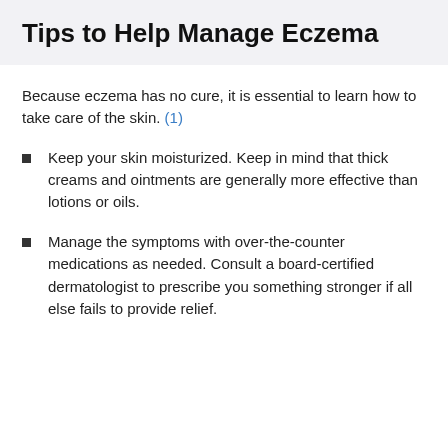Tips to Help Manage Eczema
Because eczema has no cure, it is essential to learn how to take care of the skin. (1)
Keep your skin moisturized. Keep in mind that thick creams and ointments are generally more effective than lotions or oils.
Manage the symptoms with over-the-counter medications as needed. Consult a board-certified dermatologist to prescribe you something stronger if all else fails to provide relief.